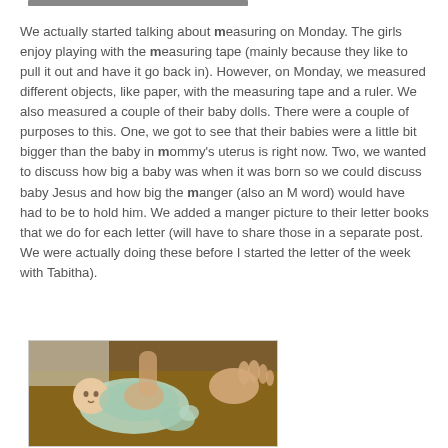[Figure (other): Partial view of a dark bar or header element at top of page]
We actually started talking about measuring on Monday. The girls enjoy playing with the measuring tape (mainly because they like to pull it out and have it go back in). However, on Monday, we measured different objects, like paper, with the measuring tape and a ruler. We also measured a couple of their baby dolls. There were a couple of purposes to this. One, we got to see that their babies were a little bit bigger than the baby in mommy's uterus is right now. Two, we wanted to discuss how big a baby was when it was born so we could discuss baby Jesus and how big the manger (also an M word) would have had to be to hold him. We added a manger picture to their letter books that we do for each letter (will have to share those in a separate post. We were actually doing these before I started the letter of the week with Tabitha).
[Figure (photo): Photo of a baby doll lying on a brown table with a child's hand touching it, paper visible in background]